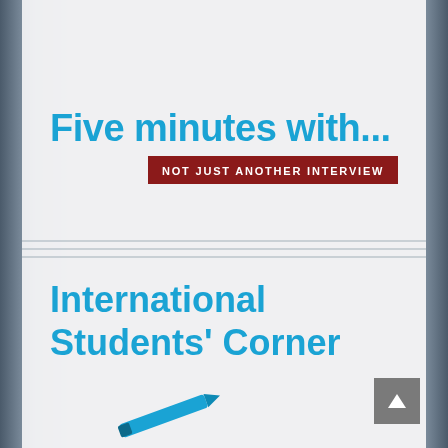Five minutes with...
NOT JUST ANOTHER INTERVIEW
International Students' Corner
[Figure (other): Background image of industrial machinery/printing press equipment visible on left and right edges]